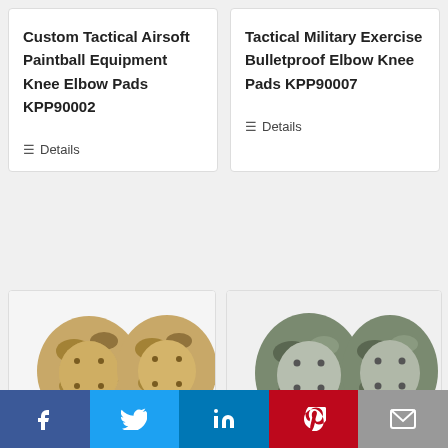Custom Tactical Airsoft Paintball Equipment Knee Elbow Pads KPP90002
Details
Tactical Military Exercise Bulletproof Elbow Knee Pads KPP90007
Details
[Figure (photo): Two camouflage knee pads side by side - tan/brown desert camo pattern]
[Figure (photo): Two camouflage knee pads side by side - grey/green ACU camo pattern]
f  (Facebook)  t (Twitter)  in (LinkedIn)  P (Pinterest)  email